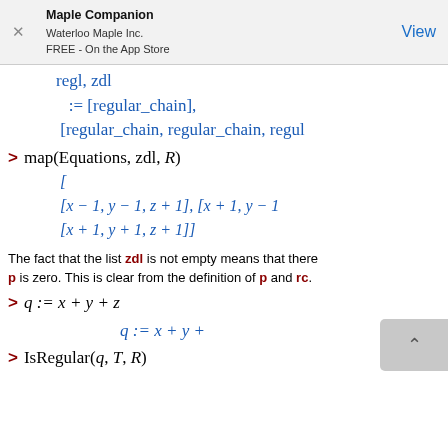Maple Companion
Waterloo Maple Inc.
FREE - On the App Store
regl, zdl
:= [regular_chain],
[regular_chain, regular_chain, regul
> map(Equations, zdl, R)
[
[x − 1, y − 1, z + 1], [x + 1, y − 1
[x + 1, y + 1, z + 1]]
The fact that the list zdl is not empty means that there p is zero. This is clear from the definition of p and rc.
> IsRegular(q, T, R)